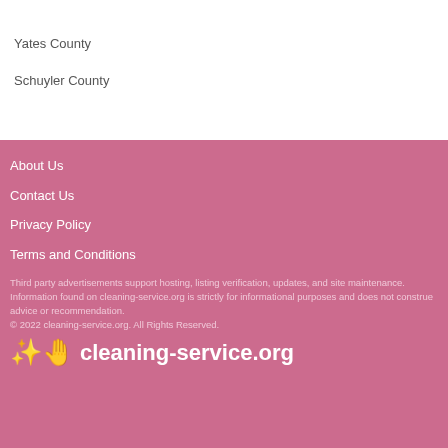Yates County
Schuyler County
About Us
Contact Us
Privacy Policy
Terms and Conditions
Third party advertisements support hosting, listing verification, updates, and site maintenance. Information found on cleaning-service.org is strictly for informational purposes and does not construe advice or recommendation.
© 2022 cleaning-service.org. All Rights Reserved.
cleaning-service.org